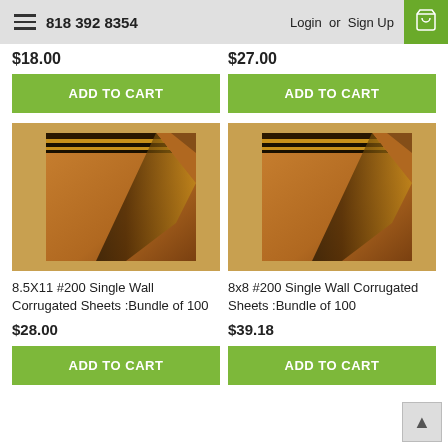818 392 8354  Login or Sign Up
$18.00
ADD TO CART
$27.00
ADD TO CART
[Figure (photo): Corrugated cardboard sheets bundle shown at an angle, brown color]
8.5X11 #200 Single Wall Corrugated Sheets :Bundle of 100
$28.00
ADD TO CART
[Figure (photo): Corrugated cardboard sheets bundle shown at an angle, brown color]
8x8 #200 Single Wall Corrugated Sheets :Bundle of 100
$39.18
ADD TO CART